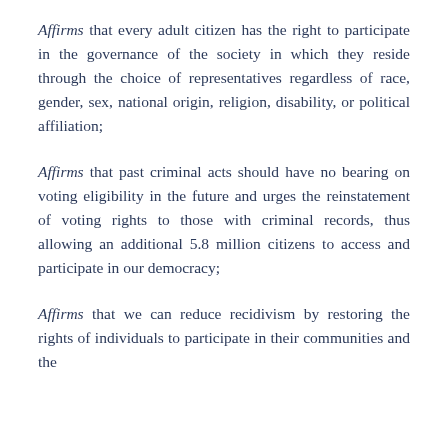Affirms that every adult citizen has the right to participate in the governance of the society in which they reside through the choice of representatives regardless of race, gender, sex, national origin, religion, disability, or political affiliation;
Affirms that past criminal acts should have no bearing on voting eligibility in the future and urges the reinstatement of voting rights to those with criminal records, thus allowing an additional 5.8 million citizens to access and participate in our democracy;
Affirms that we can reduce recidivism by restoring the rights of individuals to participate in their communities and the